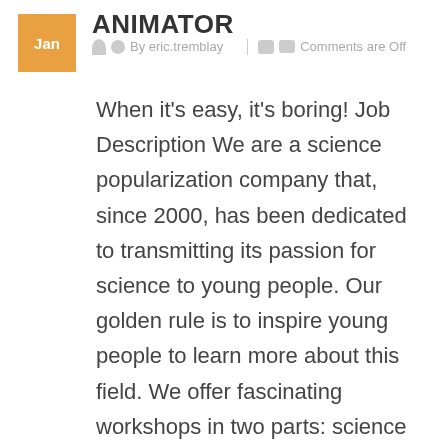ANIMATOR
By eric.tremblay | Comments are Off
When it's easy, it's boring! Job Description We are a science popularization company that, since 2000, has been dedicated to transmitting its passion for science to young people. Our golden rule is to inspire young people to learn more about this field. We offer fascinating workshops in two parts: science popularization and training in facilitation – where everyone's respect and